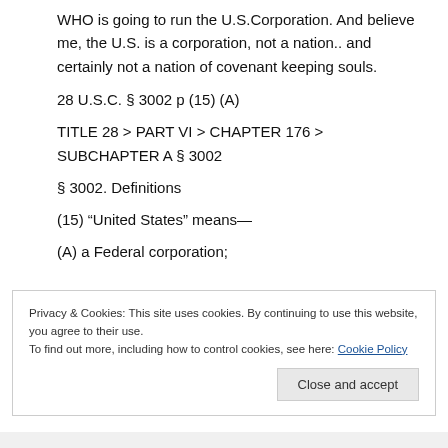WHO is going to run the U.S.Corporation. And believe me, the U.S. is a corporation, not a nation.. and certainly not a nation of covenant keeping souls.
28 U.S.C. § 3002 p (15) (A)
TITLE 28 > PART VI > CHAPTER 176 > SUBCHAPTER A § 3002
§ 3002. Definitions
(15) "United States" means—
(A) a Federal corporation;
Privacy & Cookies: This site uses cookies. By continuing to use this website, you agree to their use.
To find out more, including how to control cookies, see here: Cookie Policy
Close and accept